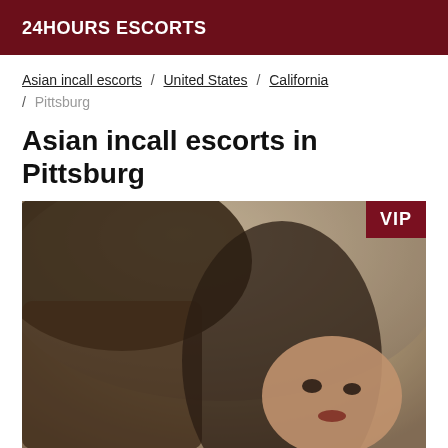24HOURS ESCORTS
Asian incall escorts / United States / California / Pittsburg
Asian incall escorts in Pittsburg
[Figure (photo): Photo of a woman with dark hair, lying on a sofa, looking toward the camera. A VIP badge is shown in the top-right corner of the image.]